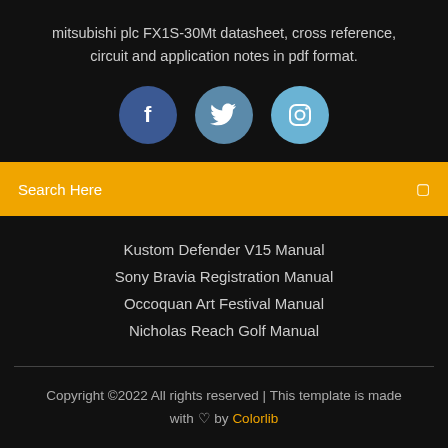mitsubishi plc FX1S-30Mt datasheet, cross reference, circuit and application notes in pdf format.
[Figure (illustration): Three social media icon circles: Facebook (dark blue), Twitter (medium blue), Instagram (light blue), each with white icons]
Search Here
Kustom Defender V15 Manual
Sony Bravia Registration Manual
Occoquan Art Festival Manual
Nicholas Reach Golf Manual
Copyright ©2022 All rights reserved | This template is made with ♡ by Colorlib